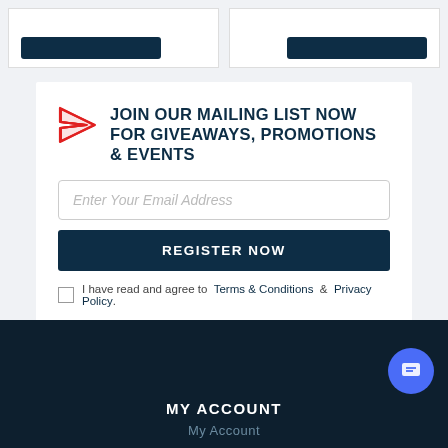[Figure (screenshot): Two card elements with dark navy buttons at top of page]
JOIN OUR MAILING LIST NOW FOR GIVEAWAYS, PROMOTIONS & EVENTS
Enter Your Email Address
REGISTER NOW
I have read and agree to Terms & Conditions & Privacy Policy.
MY ACCOUNT
My Account